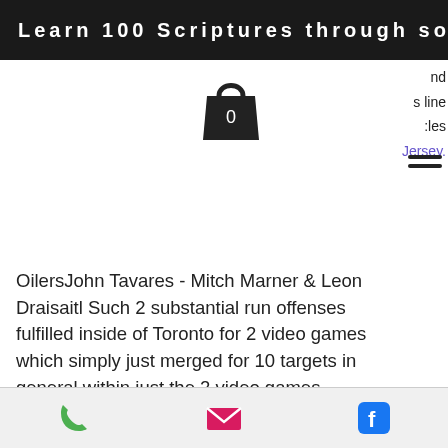Learn 100 Scriptures through song!
[Figure (illustration): Shopping bag icon with number 0]
nd
s line
:les
Jersey.
OilersJohn Tavares - Mitch Marner & Leon Draisaitl Such 2 substantial run offenses fulfilled inside of Toronto for 2 video games which simply just merged for 10 targets in general within just the 2 video games. Theyre proficient of conquering that selection inside of a one activity at present, and this must be a distinguished video game in the direction of emphasis with 2 instantaneous groups and dynamic skaters. The Tavares/Nylander price tag tag for a personnel who is rolling using received 3 within a row already and need to short article 4 plans presently. For Edmonton,
Phone | Email | Facebook